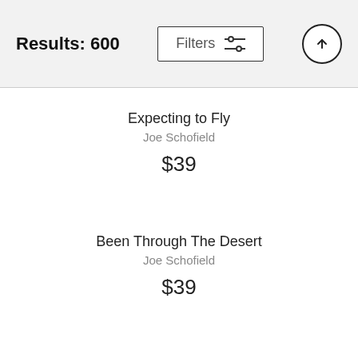Results: 600
Expecting to Fly
Joe Schofield
$39
Been Through The Desert
Joe Schofield
$39